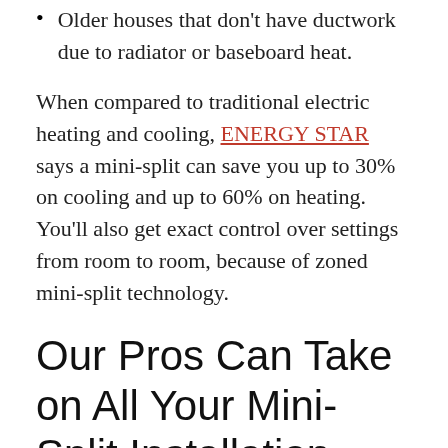Older houses that don't have ductwork due to radiator or baseboard heat.
When compared to traditional electric heating and cooling, ENERGY STAR says a mini-split can save you up to 30% on cooling and up to 60% on heating. You'll also get exact control over settings from room to room, because of zoned mini-split technology.
Our Pros Can Take on All Your Mini-Split Installation Needs
From helping you pick the right model to knowledgeably installing it, our specialists at CountyLine Mechanical LLC can take care of all